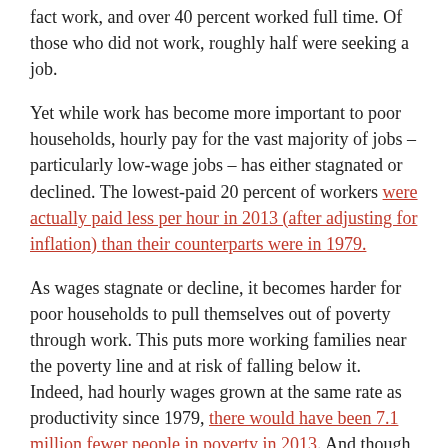fact work, and over 40 percent worked full time. Of those who did not work, roughly half were seeking a job.
Yet while work has become more important to poor households, hourly pay for the vast majority of jobs – particularly low-wage jobs – has either stagnated or declined. The lowest-paid 20 percent of workers were actually paid less per hour in 2013 (after adjusting for inflation) than their counterparts were in 1979.
As wages stagnate or decline, it becomes harder for poor households to pull themselves out of poverty through work. This puts more working families near the poverty line and at risk of falling below it. Indeed, had hourly wages grown at the same rate as productivity since 1979, there would have been 7.1 million fewer people in poverty in 2013. And though a significant share of the poor cannot work, raising wages would reduce reliance on the safety net by